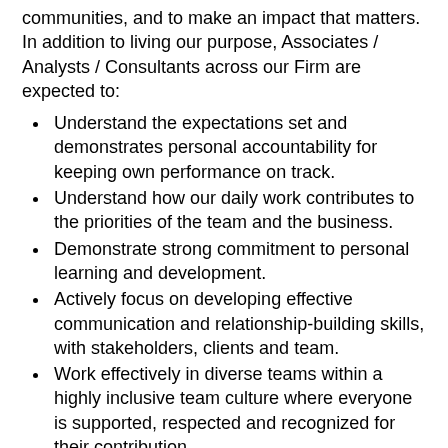communities, and to make an impact that matters. In addition to living our purpose, Associates / Analysts / Consultants across our Firm are expected to:
Understand the expectations set and demonstrates personal accountability for keeping own performance on track.
Understand how our daily work contributes to the priorities of the team and the business.
Demonstrate strong commitment to personal learning and development.
Actively focus on developing effective communication and relationship-building skills, with stakeholders, clients and team.
Work effectively in diverse teams within a highly inclusive team culture where everyone is supported, respected and recognized for their contribution.
Requirements